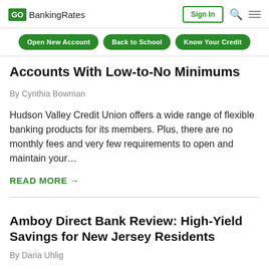GO BankingRates | Sign In
Open New Account
Back to School
Know Your Credit
Accounts With Low-to-No Minimums
By Cynthia Bowman
Hudson Valley Credit Union offers a wide range of flexible banking products for its members. Plus, there are no monthly fees and very few requirements to open and maintain your…
READ MORE →
Amboy Direct Bank Review: High-Yield Savings for New Jersey Residents
By Daria Uhlig